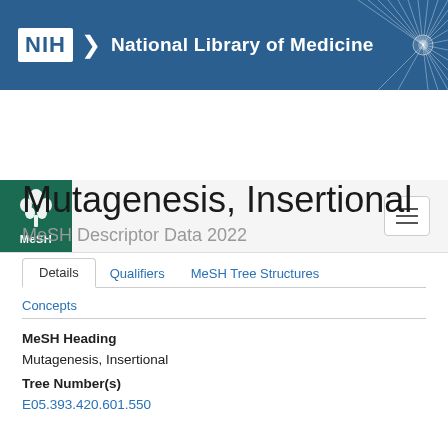[Figure (logo): NIH National Library of Medicine banner with blue background, NIH logo, text, and starburst graphic]
[Figure (logo): MeSH green logo with tree illustration and MeSH text, with hamburger menu button]
Mutagenesis, Insertional
MeSH Descriptor Data 2022
Details | Qualifiers | MeSH Tree Structures | Concepts
MeSH Heading
Mutagenesis, Insertional
Tree Number(s)
E05.393.420.601.550